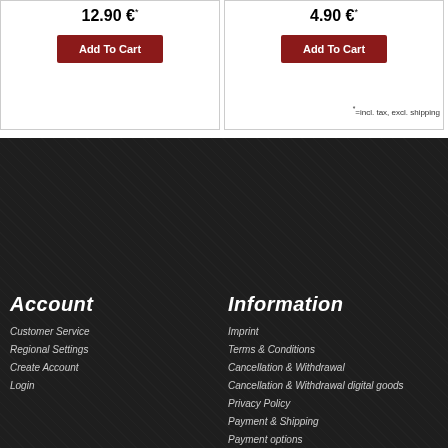12.90 €*
Add To Cart
4.90 €*
Add To Cart
*=incl. tax, excl. shipping
Account
Information
Customer Service
Regional Settings
Create Account
Login
Imprint
Terms & Conditions
Cancellation & Withdrawal
Cancellation & Withdrawal digital goods
Privacy Policy
Payment & Shipping
Payment options